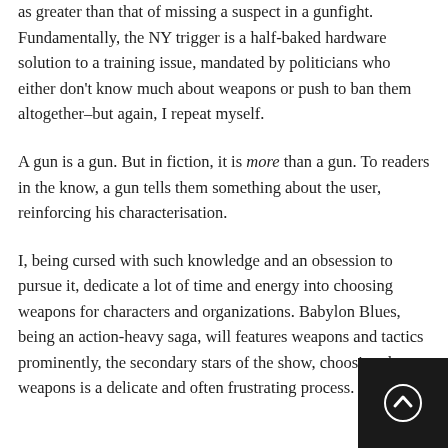security. But it has changed its policy. The most charitable interpretation is that it views the risk of a negligent discharge as greater than that of missing a suspect in a gunfight. Fundamentally, the NY trigger is a half-baked hardware solution to a training issue, mandated by politicians who either don't know much about weapons or push to ban them altogether–but again, I repeat myself.
A gun is a gun. But in fiction, it is more than a gun. To readers in the know, a gun tells them something about the user, reinforcing his characterisation.
I, being cursed with such knowledge and an obsession to pursue it, dedicate a lot of time and energy into choosing weapons for characters and organizations. Babylon Blues, being an action-heavy saga, will features weapons and tactics prominently, the secondary stars of the show, choosing the weapons is a delicate and often frustrating process.